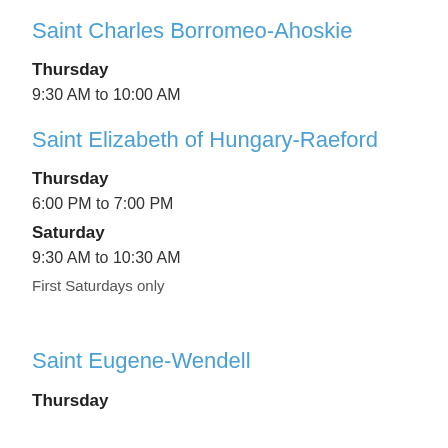Saint Charles Borromeo-Ahoskie
Thursday
9:30 AM to 10:00 AM
Saint Elizabeth of Hungary-Raeford
Thursday
6:00 PM to 7:00 PM
Saturday
9:30 AM to 10:30 AM
First Saturdays only
Saint Eugene-Wendell
Thursday